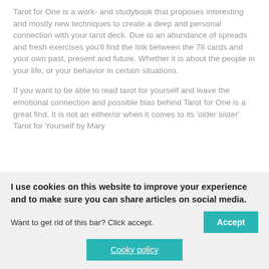Tarot for One is a work- and studybook that proposes interesting and mostly new techniques to create a deep and personal connection with your tarot deck. Due to an abundance of spreads and fresh exercises you'll find the link between the 78 cards and your own past, present and future. Whether it is about the people in your life, or your behavior in certain situations.
If you want to be able to read tarot for yourself and leave the emotional connection and possible bias behind Tarot for One is a great find. It is not an either/or when it comes to its 'older sister' Tarot for Yourself by Mary
I use cookies on this website to improve your experience and to make sure you can share articles on social media.
Want to get rid of this bar? Click accept.
Accept
Cooky policy